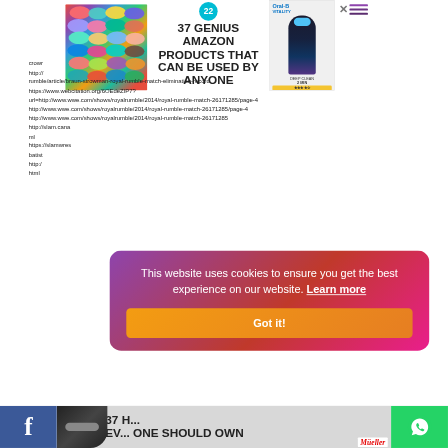[Figure (screenshot): Ad banner showing colorful scrunchies with text '22 / 37 GENIUS AMAZON PRODUCTS THAT CAN BE USED BY ANYONE']
[Figure (screenshot): Oral-B Vitality electric toothbrush advertisement]
[Figure (screenshot): Hamburger menu icon with purple/pink lines and X close button]
crown http://rumble/article/braun-strowman-royal-rumble-match-elimination-record
https://www.webcitation.org/6OEdeZIP7?url=http://www.wwe.com/shows/royalrumble/2014/royal-rumble-match-26171285/page-4
http://www.wwe.com/shows/royalrumble/2014/royal-rumble-match-26171285/page-4
http://www.wwe.com/shows/royalrumble/2014/royal-rumble-match-26171285
http://slam.cana ml
https://slamwres batist
http:// html
[Figure (screenshot): Cookie consent popup with gradient purple-pink-red background reading 'This website uses cookies to ensure you get the best experience on our website. Learn more' with orange 'Got it!' button]
[Figure (screenshot): Bottom advertisement showing weights/dumbbells with text '37 H... EV... ONE SHOULD OWN' and Mueller brand logo]
[Figure (logo): Facebook share button bar at bottom left (blue background with f icon)]
[Figure (logo): WhatsApp share button bar at bottom right (green background with phone icon)]